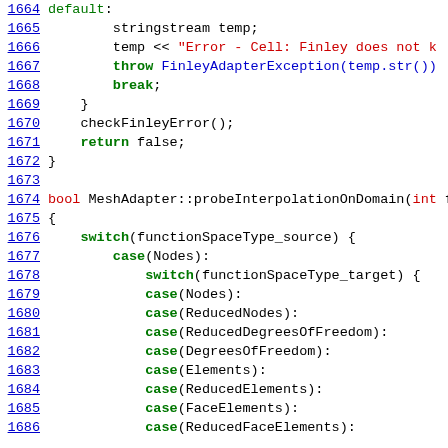[Figure (screenshot): Source code listing in C++ showing lines 1664-1686 of a file, with syntax highlighting. Line numbers in blue/underlined on the left, keywords in green bold, string literals in red, normal code in black.]